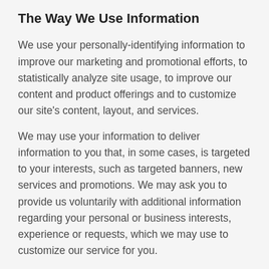The Way We Use Information
We use your personally-identifying information to improve our marketing and promotional efforts, to statistically analyze site usage, to improve our content and product offerings and to customize our site's content, layout, and services.
We may use your information to deliver information to you that, in some cases, is targeted to your interests, such as targeted banners, new services and promotions. We may ask you to provide us voluntarily with additional information regarding your personal or business interests, experience or requests, which we may use to customize our service for you.
We use your e-mail address, your mailing address,